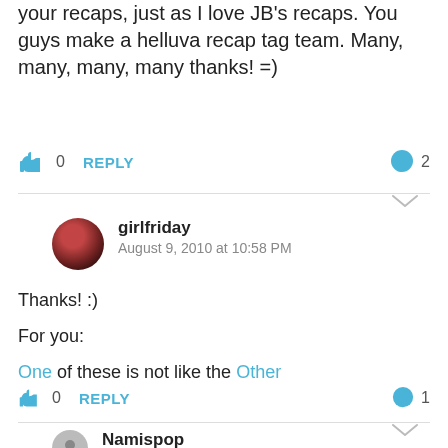your recaps, just as I love JB's recaps. You guys make a helluva recap tag team. Many, many, many, many thanks! =)
👍 0  REPLY   💬 2
girlfriday
August 9, 2010 at 10:58 PM
Thanks! :)

For you:

One of these is not like the Other
👍 0  REPLY   💬 1
Namispop
August 10, 2010 at 5:23 AM